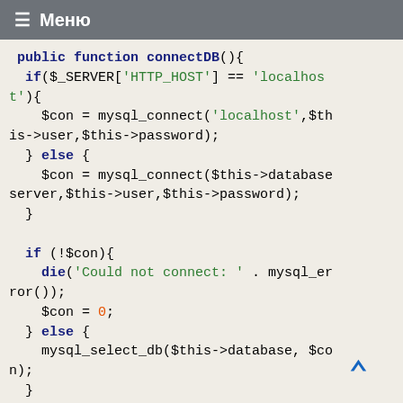☰ Меню
[Figure (screenshot): PHP code block showing connectDB() and closeDB() functions with syntax highlighting. Keywords in dark blue bold, strings in green, numbers in orange.]